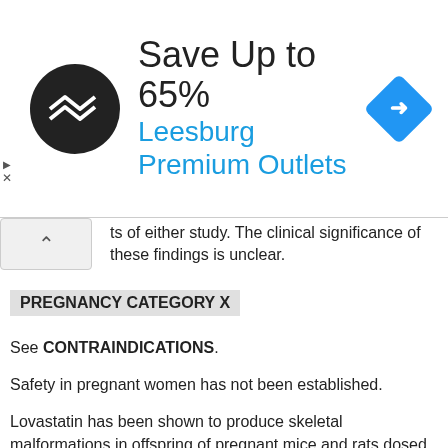[Figure (other): Advertisement banner: Save Up to 65% Leesburg Premium Outlets with logo circle and blue diamond arrow icon]
ts of either study. The clinical significance of these findings is unclear.
PREGNANCY CATEGORY X
See CONTRAINDICATIONS.
Safety in pregnant women has not been established.
Lovastatin has been shown to produce skeletal malformations in offspring of pregnant mice and rats dosed during gestation at 80 mg/kg/day (affected mouse fetuses/total: 8/307 compared to 4/289 in the control group; affected rat fetuses/total: 6/324 compared to 2/308 in the control group). Female rats dosed before mating through gestation at 80 mg/kg/day also had fetuses with skeletal malformations (affected